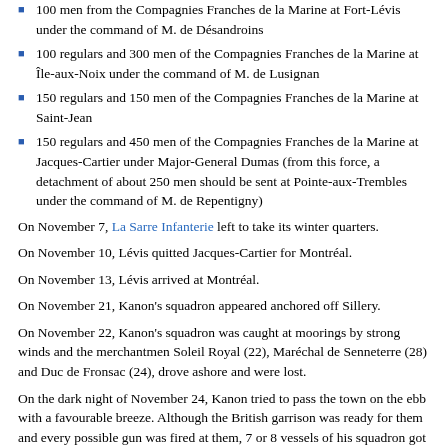100 men from the Compagnies Franches de la Marine at Fort-Lévis under the command of M. de Désandroins
100 regulars and 300 men of the Compagnies Franches de la Marine at Île-aux-Noix under the command of M. de Lusignan
150 regulars and 150 men of the Compagnies Franches de la Marine at Saint-Jean
150 regulars and 450 men of the Compagnies Franches de la Marine at Jacques-Cartier under Major-General Dumas (from this force, a detachment of about 250 men should be sent at Pointe-aux-Trembles under the command of M. de Repentigny)
On November 7, La Sarre Infanterie left to take its winter quarters.
On November 10, Lévis quitted Jacques-Cartier for Montréal.
On November 13, Lévis arrived at Montréal.
On November 21, Kanon's squadron appeared anchored off Sillery.
On November 22, Kanon's squadron was caught at moorings by strong winds and the merchantmen Soleil Royal (22), Maréchal de Senneterre (28) and Duc de Fronsac (24), drove ashore and were lost.
On the dark night of November 24, Kanon tried to pass the town on the ebb with a favourable breeze. Although the British garrison was ready for them and every possible gun was fired at them, 7 or 8 vessels of his squadron got past safely. Another merchantman, the Elisabeth (10), was stranded on the south shore. Her crew made preparations for blowing her up and then,